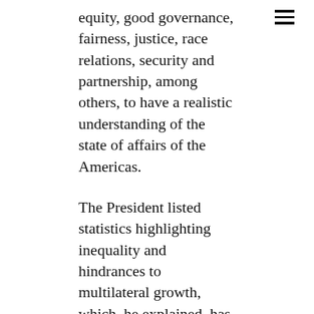equity, good governance, fairness, justice, race relations, security and partnership, among others, to have a realistic understanding of the state of affairs of the Americas.
The President listed statistics highlighting inequality and hindrances to multilateral growth, which, he explained, has stagnated overall development. He said that while member states are living among various challenges to the aforementioned pillars, collectively, they have the potential to bring prosperity to every home.
President Ali listed the potential of energy security—using abundant natural resources, land and access to water to ensure there is food security while noting that there is enough rainforest cover and technology to decelerate the impact of climate